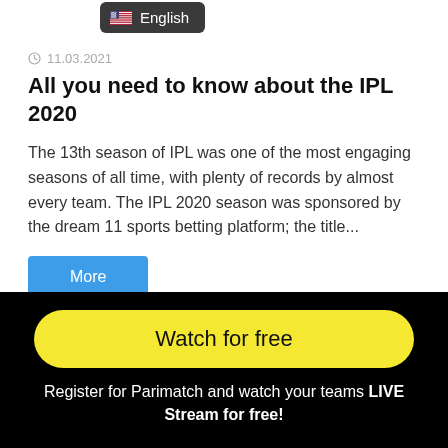[Figure (other): Language selector button with US flag icon and text 'English' on dark background]
11.03.2021
All you need to know about the IPL 2020
The 13th season of IPL was one of the most engaging seasons of all time, with plenty of records by almost every team. The IPL 2020 season was sponsored by the dream 11 sports betting platform; the title...
More
Watch for free
Register for Parimatch and watch your teams LIVE Stream for free!